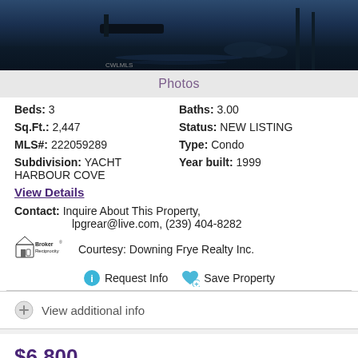[Figure (photo): Waterfront photo showing boats and dock reflection on water, dark evening tones]
Photos
Beds: 3   Baths: 3.00
Sq.Ft.: 2,447   Status: NEW LISTING
MLS#: 222059289   Type: Condo
Subdivision: YACHT HARBOUR COVE   Year built: 1999
View Details
Contact: Inquire About This Property, lpgrear@live.com, (239) 404-8282
[Figure (logo): Broker Reciprocity logo with house icon and text]
Courtesy: Downing Frye Realty Inc.
Request Info   Save Property
View additional info
$6,800
627 Soliel DR Naples, FL 34110